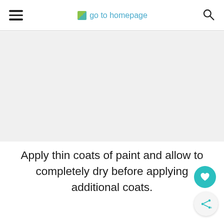go to homepage
[Figure (photo): Content image area, light gray placeholder]
Apply thin coats of paint and allow to completely dry before applying additional coats.